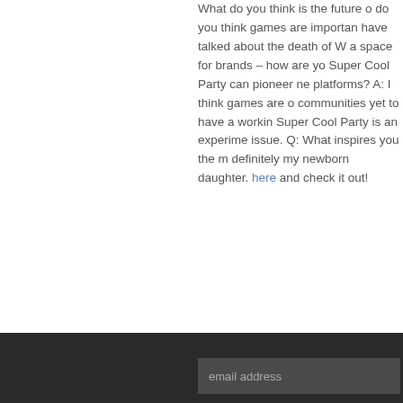What do you think is the future of... do you think games are important... have talked about the death of W... a space for brands – how are you... Super Cool Party can pioneer ne... platforms? A: I think games are o... communities yet to have a workin... Super Cool Party is an experime... issue. Q: What inspires you the m... definitely my newborn daughter. here and check it out!
email address